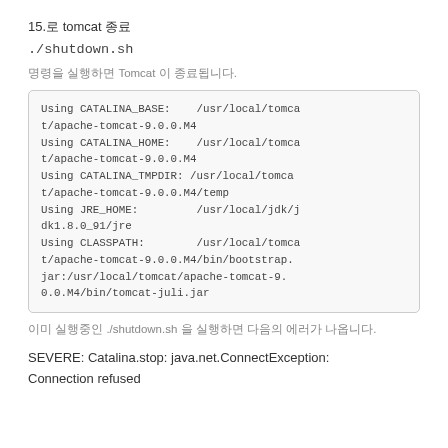15.로 tomcat 종료
./shutdown.sh
명령을 실행하면 Tomcat 이 종료됩니다.
Using CATALINA_BASE:    /usr/local/tomcat/apache-tomcat-9.0.0.M4
Using CATALINA_HOME:    /usr/local/tomcat/apache-tomcat-9.0.0.M4
Using CATALINA_TMPDIR: /usr/local/tomcat/apache-tomcat-9.0.0.M4/temp
Using JRE_HOME:         /usr/local/jdk/jdk1.8.0_91/jre
Using CLASSPATH:        /usr/local/tomcat/apache-tomcat-9.0.0.M4/bin/bootstrap.jar:/usr/local/tomcat/apache-tomcat-9.0.0.M4/bin/tomcat-juli.jar
이미 실행중인 ./shutdown.sh 을 실행하면 다음의 에러가 나옵니다.
SEVERE: Catalina.stop: java.net.ConnectException: Connection refused